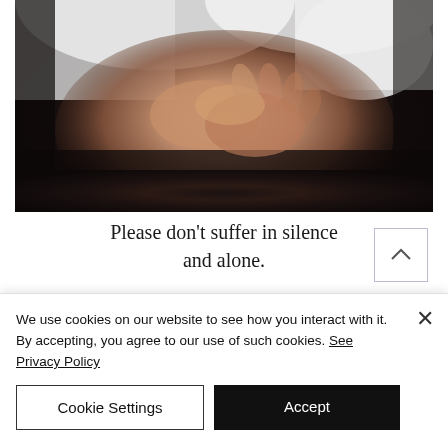[Figure (photo): Close-up photo of two people holding hands, one wearing a white shirt. Dark moody background with warm skin tones.]
Please don't suffer in silence and alone.
We use cookies on our website to see how you interact with it. By accepting, you agree to our use of such cookies. See Privacy Policy
Cookie Settings
Accept